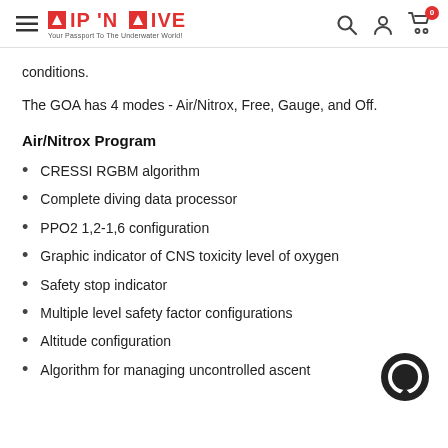DIP 'N DIVE — Your Passport To The Underwater World!
conditions.
The GOA has 4 modes - Air/Nitrox, Free, Gauge, and Off.
Air/Nitrox Program
CRESSI RGBM algorithm
Complete diving data processor
PPO2 1,2-1,6 configuration
Graphic indicator of CNS toxicity level of oxygen
Safety stop indicator
Multiple level safety factor configurations
Altitude configuration
Algorithm for managing uncontrolled ascent